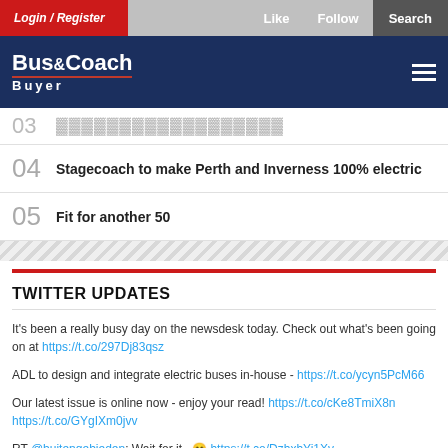Login / Register | Like | Follow | Search
Bus&Coach Buyer
04 Stagecoach to make Perth and Inverness 100% electric
05 Fit for another 50
TWITTER UPDATES
It's been a really busy day on the newsdesk today. Check out what's been going on at https://t.co/297Dj83qsz
ADL to design and integrate electric buses in-house - https://t.co/ycyn5PcM66
Our latest issue is online now - enjoy your read! https://t.co/cKe8TmiX8n https://t.co/GYgIXm0jvv
RT @buitengebieden: Wait for it.. 😊 https://t.co/DzhxhYi1Xv